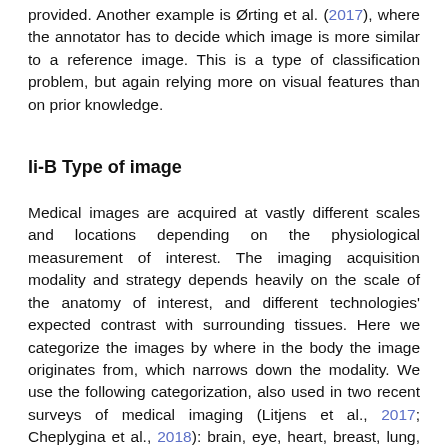provided. Another example is Ørting et al. (2017), where the annotator has to decide which image is more similar to a reference image. This is a type of classification problem, but again relying more on visual features than on prior knowledge.
Ii-B Type of image
Medical images are acquired at vastly different scales and locations depending on the physiological measurement of interest. The imaging acquisition modality and strategy depends heavily on the scale of the anatomy of interest, and different technologies' expected contrast with surrounding tissues. Here we categorize the images by where in the body the image originates from, which narrows down the modality. We use the following categorization, also used in two recent surveys of medical imaging (Litjens et al., 2017; Cheplygina et al., 2018): brain, eye, heart, breast, lung, abdomen, histology/microscopy, multiple, other.
We compare the distribution of applications surveyed in this work with the two other surveys in Table I. An